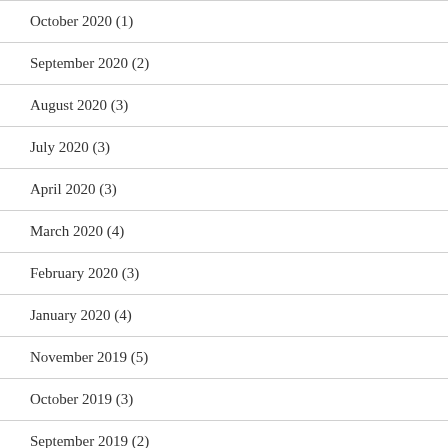October 2020 (1)
September 2020 (2)
August 2020 (3)
July 2020 (3)
April 2020 (3)
March 2020 (4)
February 2020 (3)
January 2020 (4)
November 2019 (5)
October 2019 (3)
September 2019 (2)